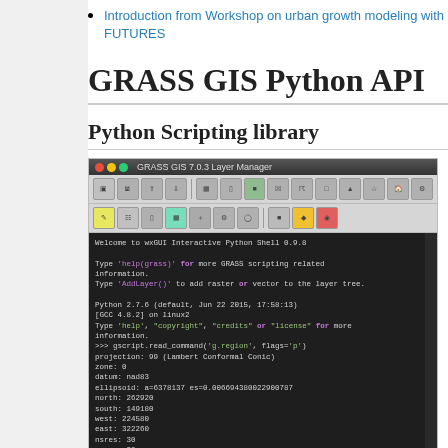Introduction from Workshop on urban growth modeling with FUTURES
GRASS GIS Python API
Python Scripting library
[Figure (screenshot): GRASS GIS 7.0.3 Layer Manager window showing wxGUI Interactive Python Shell with gscript.read_command output for g.region showing projection, datum, ellipsoid, north, south, west, east, nsres, ewres, rows, cols values]